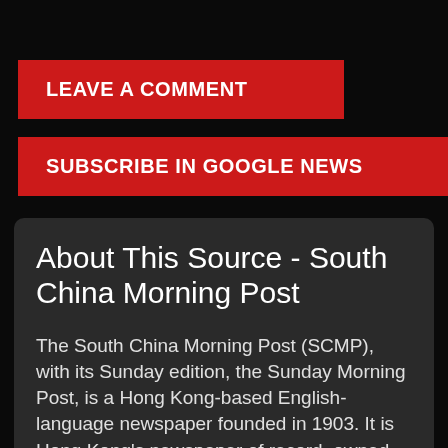LEAVE A COMMENT
SUBSCRIBE IN GOOGLE NEWS
About This Source - South China Morning Post
The South China Morning Post (SCMP), with its Sunday edition, the Sunday Morning Post, is a Hong Kong-based English-language newspaper founded in 1903. It is Hong Kong's newspaper of record, owned by Alibaba Group.